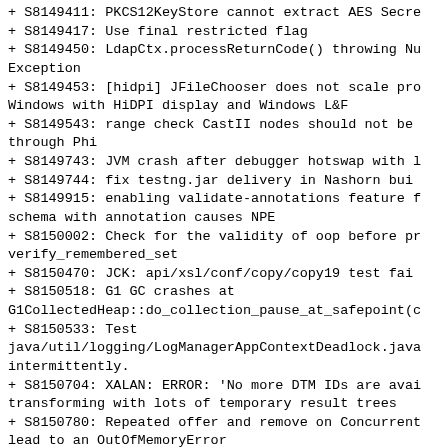+ S8149411: PKCS12KeyStore cannot extract AES Secre
+ S8149417: Use final restricted flag
+ S8149450: LdapCtx.processReturnCode() throwing Nu
Exception
+ S8149453: [hidpi] JFileChooser does not scale pro
Windows with HiDPI display and Windows L&F
+ S8149543: range check CastII nodes should not be
through Phi
+ S8149743: JVM crash after debugger hotswap with l
+ S8149744: fix testng.jar delivery in Nashorn bui
+ S8149915: enabling validate-annotations feature f
schema with annotation causes NPE
+ S8150002: Check for the validity of oop before pr
verify_remembered_set
+ S8150470: JCK: api/xsl/conf/copy/copy19 test fai
+ S8150518: G1 GC crashes at
G1CollectedHeap::do_collection_pause_at_safepoint(c
+ S8150533: Test
java/util/logging/LogManagerAppContextDeadlock.java
intermittently.
+ S8150704: XALAN: ERROR: 'No more DTM IDs are avai
transforming with lots of temporary result trees
+ S8150780: Repeated offer and remove on Concurrent
lead to an OutOfMemoryError
+ S8151064: com/sun/jdi/RedefineAddPrivateMethod.sh
intermittently
+ S8151197: [TEST_BUG] Need to backport fix for
test/javax/net/ssl/TLS/TestJSSE.java
+ S8151352: jdk/test/sample fails with "effective l
is outside the test suite"